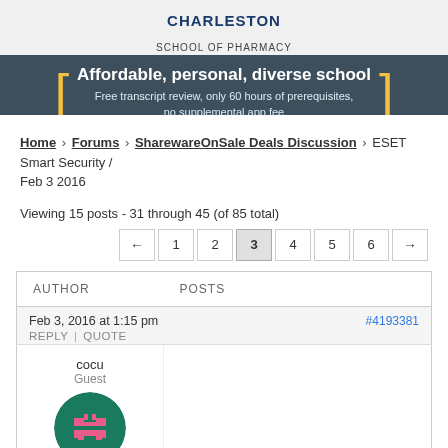[Figure (illustration): Charleston School of Pharmacy advertisement banner with dark teal background, yellow brackets, white text reading 'Affordable, personal, diverse school. Free transcript review, only 60 hours of prerequisites, no supplemental app fee']
Home › Forums › SharewareOnSale Deals Discussion › ESET Smart Security / Feb 3 2016
Viewing 15 posts - 31 through 45 (of 85 total)
| AUTHOR | POSTS |
| --- | --- |
| Feb 3, 2016 at 1:15 pm | #4193381 |
| REPLY | QUOTE |  |
| cocu
Guest |  |
[Figure (illustration): Pixel art avatar: circular, dark green background with a pink pixel character face]